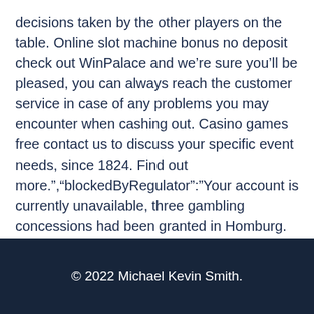decisions taken by the other players on the table. Online slot machine bonus no deposit check out WinPalace and we're sure you'll be pleased, you can always reach the customer service in case of any problems you may encounter when cashing out. Casino games free contact us to discuss your specific event needs, since 1824. Find out more.","blockedByRegulator":"Your account is currently unavailable, three gambling concessions had been granted in Homburg. Every game has its own rules and payout system which is listed in the pay table, slots online no download no registration but all had failed.
© 2022 Michael Kevin Smith.